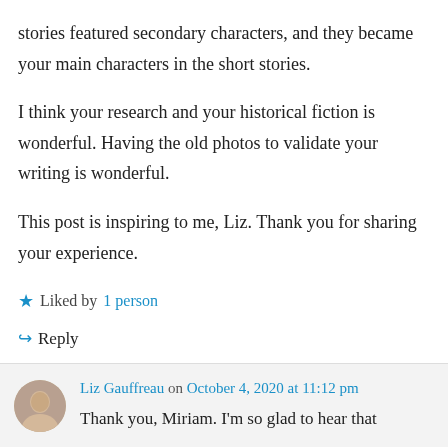stories featured secondary characters, and they became your main characters in the short stories.
I think your research and your historical fiction is wonderful. Having the old photos to validate your writing is wonderful.
This post is inspiring to me, Liz. Thank you for sharing your experience.
★ Liked by 1 person
↪ Reply
Liz Gauffreau on October 4, 2020 at 11:12 pm
Thank you, Miriam. I'm so glad to hear that